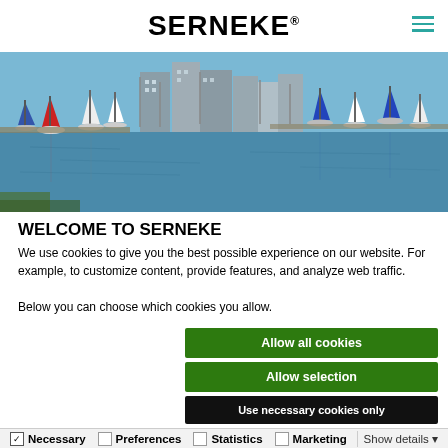SERNEKE
[Figure (photo): Marina with sailboats and modern apartment buildings reflected in calm water, daytime, blue sky]
WELCOME TO SERNEKE
We use cookies to give you the best possible experience on our website. For example, to customize content, provide features, and analyze web traffic.
Below you can choose which cookies you allow.
Allow all cookies
Allow selection
Use necessary cookies only
Necessary   Preferences   Statistics   Marketing   Show details